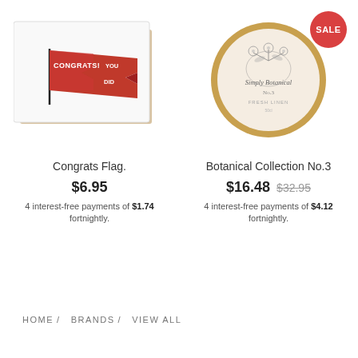[Figure (photo): Greeting card with red pennant flag reading 'CONGRATS! YOU DID' on kraft paper envelope background]
Congrats Flag.
$6.95
4 interest-free payments of $1.74 fortnightly.
[Figure (photo): Round gold-lidded tin candle with botanical illustration labeled 'Simply Botanical No.3' with SALE badge]
Botanical Collection No.3
$16.48  $32.95
4 interest-free payments of $4.12 fortnightly.
HOME / BRANDS / VIEW ALL